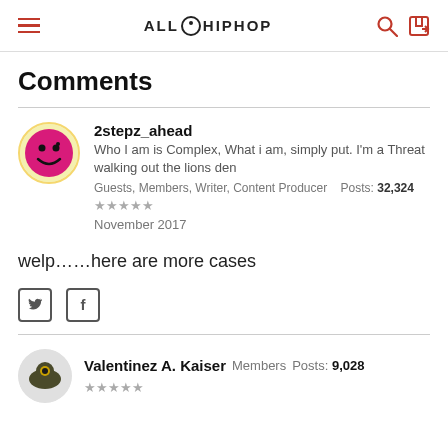ALL HIP HOP
Comments
2stepz_ahead
Who I am is Complex, What i am, simply put. I'm a Threat walking out the lions den
Guests, Members, Writer, Content Producer  Posts: 32,324
★★★★★
November 2017
welp……here are more cases
Valentinez A. Kaiser  Members  Posts: 9,028  ★★★★★